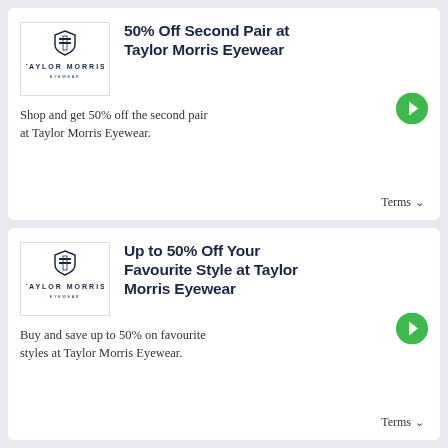[Figure (logo): Taylor Morris Eyewear logo in dark navy blue with a shield/crest icon above the text TAYLOR MORRIS]
50% Off Second Pair at Taylor Morris Eyewear
Shop and get 50% off the second pair at Taylor Morris Eyewear.
Terms
[Figure (logo): Taylor Morris Eyewear logo in dark navy blue with a shield/crest icon above the text TAYLOR MORRIS]
Up to 50% Off Your Favourite Style at Taylor Morris Eyewear
Buy and save up to 50% on favourite styles at Taylor Morris Eyewear.
Terms